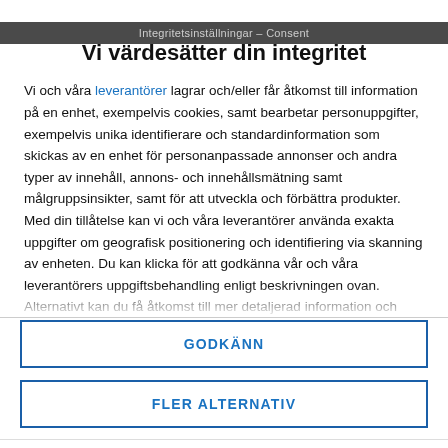Integritetsinställningar – Consent
Vi värdesätter din integritet
Vi och våra leverantörer lagrar och/eller får åtkomst till information på en enhet, exempelvis cookies, samt bearbetar personuppgifter, exempelvis unika identifierare och standardinformation som skickas av en enhet för personanpassade annonser och andra typer av innehåll, annons- och innehållsmätning samt målgruppsinsikter, samt för att utveckla och förbättra produkter. Med din tillåtelse kan vi och våra leverantörer använda exakta uppgifter om geografisk positionering och identifiering via skanning av enheten. Du kan klicka för att godkänna vår och våra leverantörers uppgiftsbehandling enligt beskrivningen ovan. Alternativt kan du få åtkomst till mer detaljerad information och ändra dina inställningar innan du samtycker eller för att neka
GODKÄNN
FLER ALTERNATIV
Exciting career opportunities where you develop